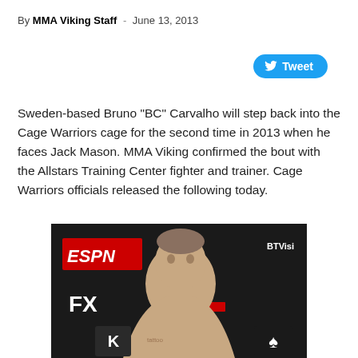By MMA Viking Staff - June 13, 2013
[Figure (other): Tweet button]
Sweden-based Bruno “BC” Carvalho will step back into the Cage Warriors cage for the second time in 2013 when he faces Jack Mason. MMA Viking confirmed the bout with the Allstars Training Center fighter and trainer. Cage Warriors officials released the following today.
[Figure (photo): Photo of Bruno BC Carvalho shirtless at a weigh-in in front of ESPN, Fight Network, BTVision, FX, and other sponsor banners with tattoos visible on chest]